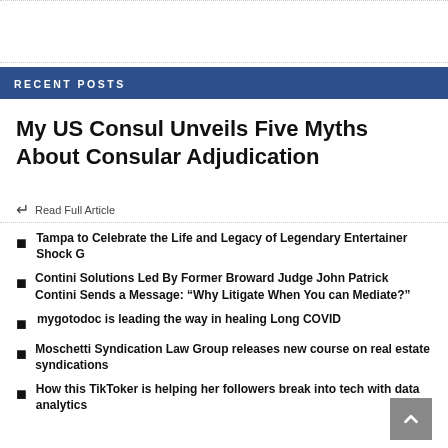RECENT POSTS
My US Consul Unveils Five Myths About Consular Adjudication
↵ Read Full Article
Tampa to Celebrate the Life and Legacy of Legendary Entertainer Shock G
Contini Solutions Led By Former Broward Judge John Patrick Contini Sends a Message: “Why Litigate When You can Mediate?”
mygotodoc is leading the way in healing Long COVID
Moschetti Syndication Law Group releases new course on real estate syndications
How this TikToker is helping her followers break into tech with data analytics